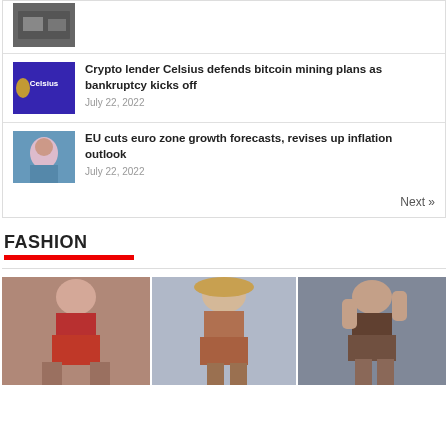[Figure (photo): Thumbnail image (building/interior)]
Crypto lender Celsius defends bitcoin mining plans as bankruptcy kicks off
July 22, 2022
EU cuts euro zone growth forecasts, revises up inflation outlook
July 22, 2022
Next »
FASHION
[Figure (photo): Three fashion runway models in swimwear]